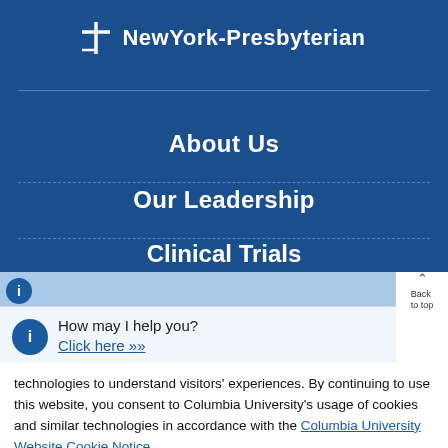[Figure (logo): NewYork-Presbyterian hospital logo with cross icon and white bold text on dark blue background]
About Us
Our Leadership
Clinical Trials (partial)
How may I help you? Click here >>
technologies to understand visitors' experiences. By continuing to use this website, you consent to Columbia University's usage of cookies and similar technologies in accordance with the Columbia University Website Cookie Notice.